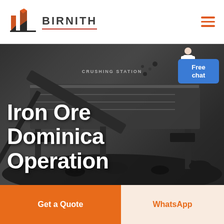[Figure (logo): Birnith company logo with orange and grey building/construction icon and BIRNITH text with red underline]
[Figure (photo): Industrial crushing station machinery with coal/ore on dark background. Text overlay: 'Iron Ore Dominica Operation'. Free chat bubble in top right corner with agent figure.]
Iron Ore Dominica Operation
Get a Quote
WhatsApp